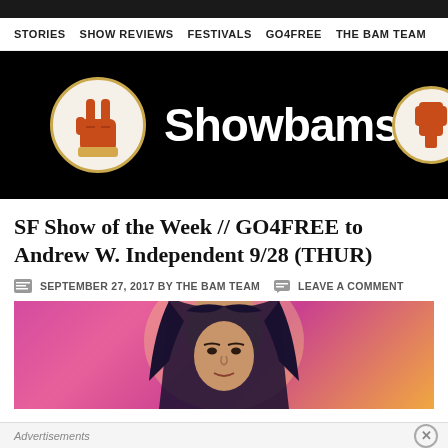STORIES   SHOW REVIEWS   FESTIVALS   GO4FREE   THE BAM TEAM
[Figure (logo): Showbams website banner with rock hand logo and text 'Showbams' on black background]
SF Show of the Week // GO4FREE to Andrew W. Independent 9/28 (THUR)
SEPTEMBER 27, 2017 BY THE BAM TEAM   LEAVE A COMMENT
[Figure (photo): Photo of a person with long dark hair against a pink/magenta background]
Advertisements